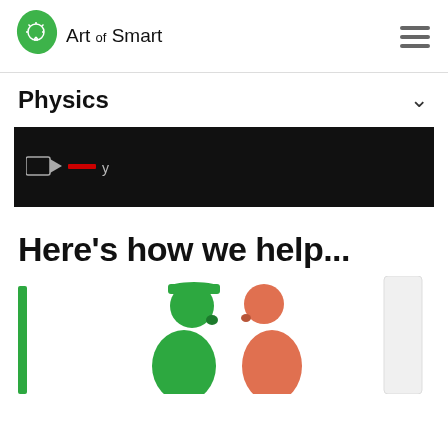Art of Smart
Physics
[Figure (screenshot): Dark/black image block with small icon and partial text visible]
Here's how we help...
[Figure (illustration): Illustration with a green vertical bar on the left and two silhouetted figures (one green, one orange/salmon) facing each other, partially cropped at bottom of page]